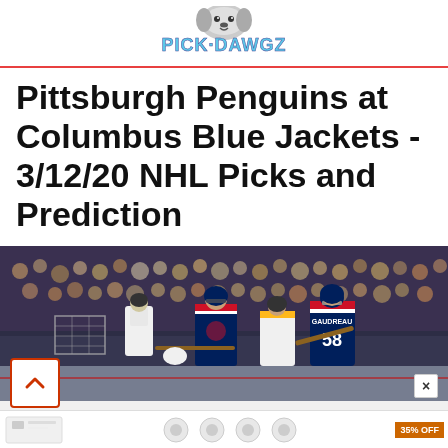PickDawgz
Pittsburgh Penguins at Columbus Blue Jackets - 3/12/20 NHL Picks and Prediction
[Figure (photo): Hockey game photo showing Columbus Blue Jackets player #58 and other players in action near the net, with Pittsburgh Penguins players and a crowd in the background.]